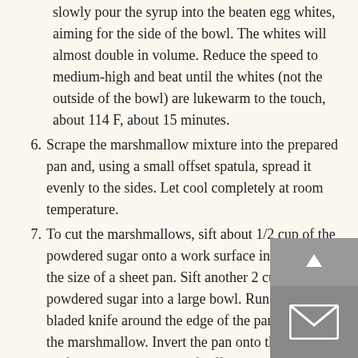slowly pour the syrup into the beaten egg whites, aiming for the side of the bowl. The whites will almost double in volume. Reduce the speed to medium-high and beat until the whites (not the outside of the bowl) are lukewarm to the touch, about 114 F, about 15 minutes.
6. Scrape the marshmallow mixture into the prepared pan and, using a small offset spatula, spread it evenly to the sides. Let cool completely at room temperature.
7. To cut the marshmallows, sift about 1/2 cup of the powdered sugar onto a work surface in a rectangle the size of a sheet pan. Sift another 2 cups powdered sugar into a large bowl. Run a thin-bladed knife around the edge of the pan to loosen the marshmallow. Invert the pan onto the sugared surface to unmold, then lift off the pan and peel off the parchment paper. Sift about 1/2 cup powdered sugar evenly over the top. Using a ruler to guide you and a lightly oiled sharp knife, cut the marshmallow sheet into 11/2-inch squares. It is easier if you use a pressing motion, rather than pull the knife. After cutting, toss the marshmallows, a few at a time, in the bowl of powdered